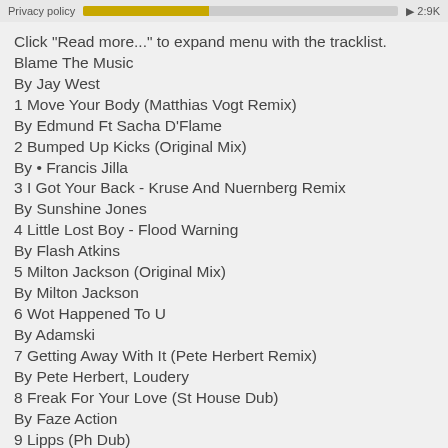Privacy policy  2:9K
Click "Read more..." to expand menu with the tracklist.
Blame The Music
By Jay West
1 Move Your Body (Matthias Vogt Remix)
By Edmund Ft Sacha D'Flame
2 Bumped Up Kicks (Original Mix)
By • Francis Jilla
3 I Got Your Back - Kruse And Nuernberg Remix
By Sunshine Jones
4 Little Lost Boy - Flood Warning
By Flash Atkins
5 Milton Jackson (Original Mix)
By Milton Jackson
6 Wot Happened To U
By Adamski
7 Getting Away With It (Pete Herbert Remix)
By Pete Herbert, Loudery
8 Freak For Your Love (St House Dub)
By Faze Action
9 Lipps (Ph Dub)